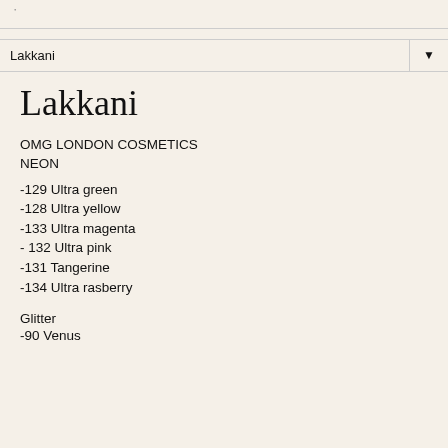Lakkani
Lakkani
OMG LONDON COSMETICS
NEON
-129 Ultra green
-128 Ultra yellow
-133 Ultra magenta
- 132 Ultra pink
-131 Tangerine
-134 Ultra rasberry
Glitter
-90 Venus